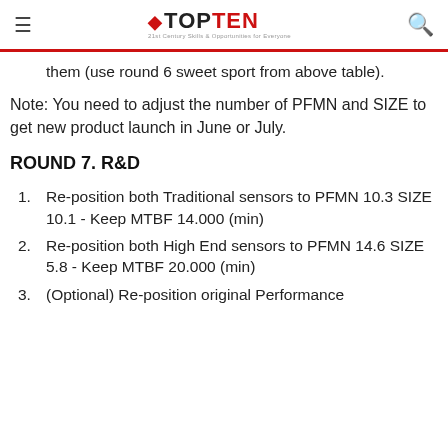TOPTEN
them (use round 6 sweet sport from above table).
Note: You need to adjust the number of PFMN and SIZE to get new product launch in June or July.
ROUND 7. R&D
Re-position both Traditional sensors to PFMN 10.3 SIZE 10.1 - Keep MTBF 14.000 (min)
Re-position both High End sensors to PFMN 14.6 SIZE 5.8 - Keep MTBF 20.000 (min)
(Optional) Re-position original Performance